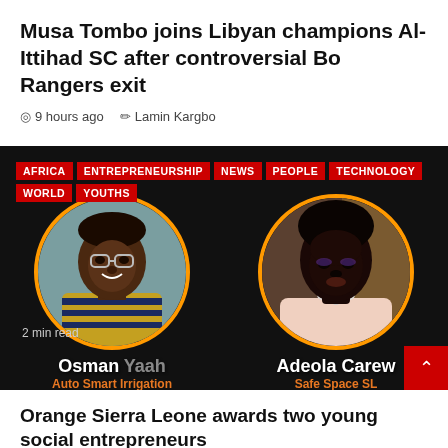Musa Tombo joins Libyan champions Al-Ittihad SC after controversial Bo Rangers exit
9 hours ago  Lamin Kargbo
[Figure (photo): Dark background image featuring two circular portrait photos with orange borders. Left portrait: Osman Yaah, Auto Smart Irrigation. Right portrait: Adeola Carew, Safe Space SL. Red category tags overlaid: AFRICA, ENTREPRENEURSHIP, NEWS, PEOPLE, TECHNOLOGY, WORLD, YOUTHS. '2 min read' badge visible. Red scroll-to-top button bottom right.]
Orange Sierra Leone awards two young social entrepreneurs